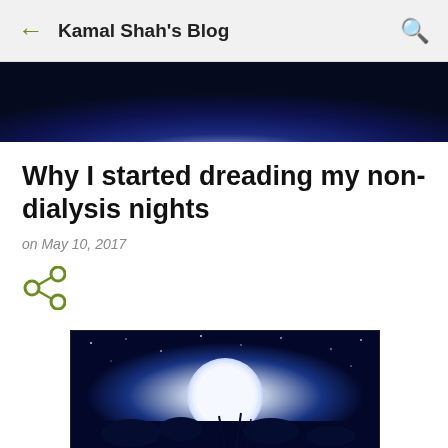Kamal Shah's Blog
[Figure (photo): Dark blue glowing night sky header banner]
Why I started dreading my non-dialysis nights
on May 10, 2017
[Figure (illustration): Share icon (less-than-style network share symbol in olive green)]
[Figure (photo): Night sky scene with large full moon, silhouetted trees and plants, stars in a deep blue sky]